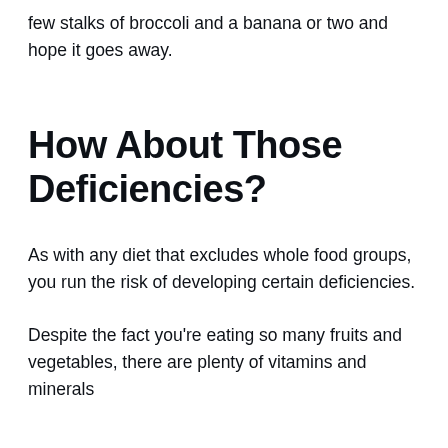few stalks of broccoli and a banana or two and hope it goes away.
How About Those Deficiencies?
As with any diet that excludes whole food groups, you run the risk of developing certain deficiencies.
Despite the fact you’re eating so many fruits and vegetables, there are plenty of vitamins and minerals